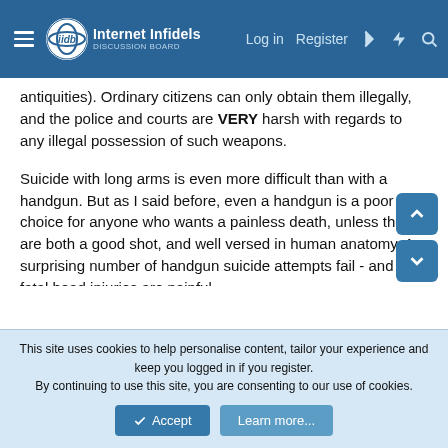Internet Infidels — Log in | Register
antiquities). Ordinary citizens can only obtain them illegally, and the police and courts are VERY harsh with regards to any illegal possession of such weapons.
Suicide with long arms is even more difficult than with a handgun. But as I said before, even a handgun is a poor choice for anyone who wants a painless death, unless they are both a good shot, and well versed in human anatomy. A surprising number of handgun suicide attempts fail - and non-fatal head injuries are painful.
(I used to work for a gunsmith in the UK, so I am quite familiar with firearms, and with the legal difficulties in obtaining them in places with sane regulations).
This site uses cookies to help personalise content, tailor your experience and keep you logged in if you register. By continuing to use this site, you are consenting to our use of cookies. [Accept] [Learn more...]